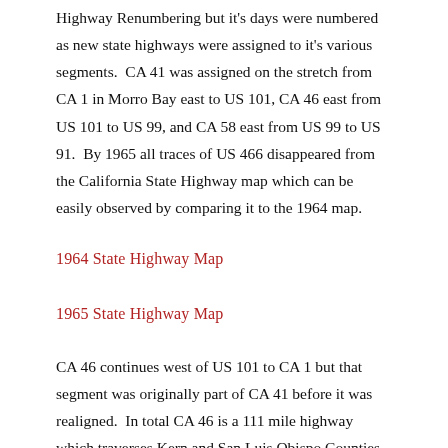Highway Renumbering but it's days were numbered as new state highways were assigned to it's various segments.  CA 41 was assigned on the stretch from CA 1 in Morro Bay east to US 101, CA 46 east from US 101 to US 99, and CA 58 east from US 99 to US 91.  By 1965 all traces of US 466 disappeared from the California State Highway map which can be easily observed by comparing it to the 1964 map.
1964 State Highway Map
1965 State Highway Map
CA 46 continues west of US 101 to CA 1 but that segment was originally part of CA 41 before it was realigned.  In total CA 46 is a 111 mile highway which traverses Kern and San Luis Obispo Counties.  CA 46 is still an important connector of the Diablo Range east to US 101 and is...